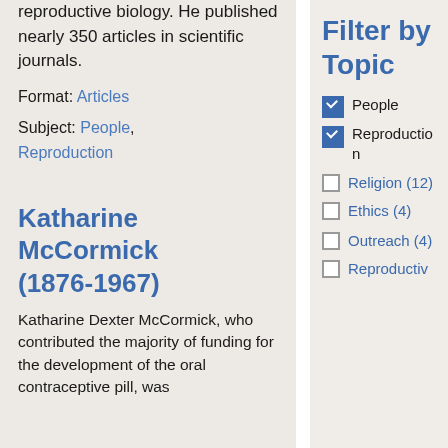reproductive biology. He published nearly 350 articles in scientific journals.
Format: Articles
Subject: People, Reproduction
Katharine McCormick (1876-1967)
Katharine Dexter McCormick, who contributed the majority of funding for the development of the oral contraceptive pill, was
Filter by Topic
People (checked)
Reproduction (checked)
Religion (12)
Ethics (4)
Outreach (4)
Reproductiv...